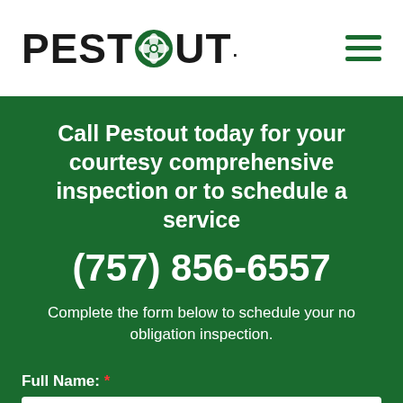PESTOUT®
Call Pestout today for your courtesy comprehensive inspection or to schedule a service
(757) 856-6557
Complete the form below to schedule your no obligation inspection.
Full Name: *
Phone Number: *